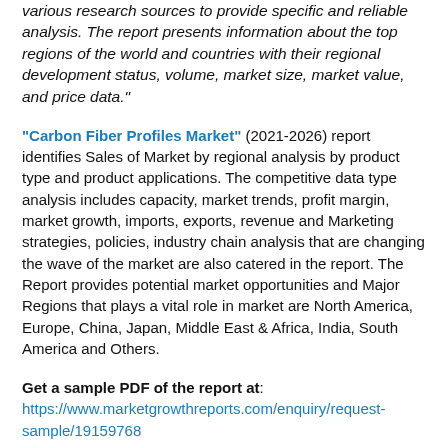various research sources to provide specific and reliable analysis. The report presents information about the top regions of the world and countries with their regional development status, volume, market size, market value, and price data."
"Carbon Fiber Profiles Market" (2021-2026) report identifies Sales of Market by regional analysis by product type and product applications. The competitive data type analysis includes capacity, market trends, profit margin, market growth, imports, exports, revenue and Marketing strategies, policies, industry chain analysis that are changing the wave of the market are also catered in the report. The Report provides potential market opportunities and Major Regions that plays a vital role in market are North America, Europe, China, Japan, Middle East & Africa, India, South America and Others.
Get a sample PDF of the report at: https://www.marketgrowthreports.com/enquiry/request-sample/19159768
Carbon Fiber Profiles Market Segmentation by Types